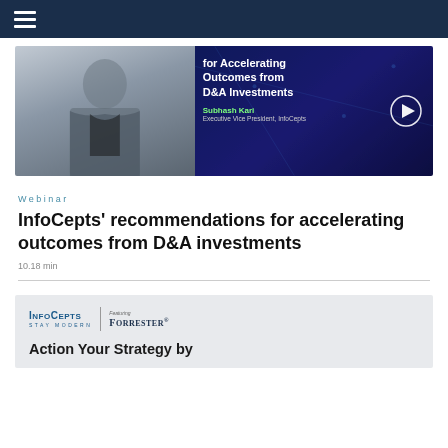Navigation bar with hamburger menu
[Figure (screenshot): Video thumbnail showing a man in a suit jacket with overlaid text reading 'for Accelerating Outcomes from D&A Investments', speaker name Subhash Kari, Executive Vice President, InfoCepts, with a play button circle]
Webinar
InfoCepts' recommendations for accelerating outcomes from D&A investments
10.18 min
[Figure (screenshot): Card with InfoCepts Stay Modern logo and Featuring Forrester logo, with partial title text 'Action Your Strategy by']